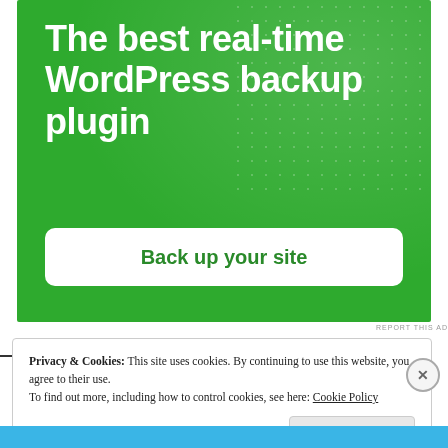[Figure (illustration): Green advertisement banner for a WordPress backup plugin. White bold text reads 'The best real-time WordPress backup plugin' with a white rounded button labeled 'Back up your site'. Background is bright green with subtle dot pattern in upper right.]
REPORT THIS AD
Privacy & Cookies: This site uses cookies. By continuing to use this website, you agree to their use.
To find out more, including how to control cookies, see here: Cookie Policy
Close and accept